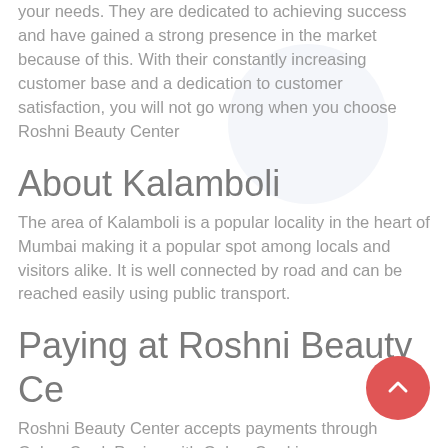your needs. They are dedicated to achieving success and have gained a strong presence in the market because of this. With their constantly increasing customer base and a dedication to customer satisfaction, you will not go wrong when you choose Roshni Beauty Center
About Kalamboli
The area of Kalamboli is a popular locality in the heart of Mumbai making it a popular spot among locals and visitors alike. It is well connected by road and can be reached easily using public transport.
Paying at Roshni Beauty Center
Roshni Beauty Center accepts payments through GalaxyCard. Paying with GalaxyCard is